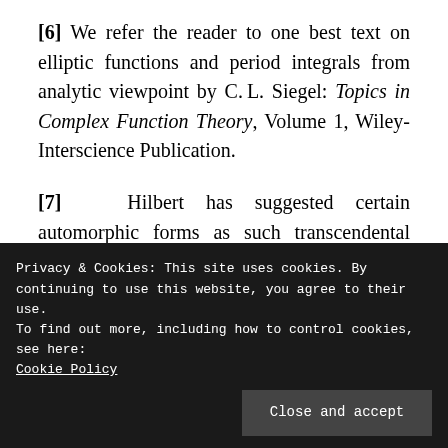[6] We refer the reader to one best text on elliptic functions and period integrals from analytic viewpoint by C. L. Siegel: Topics in Complex Function Theory, Volume 1, Wiley-Interscience Publication.
[7] Hilbert has suggested certain automorphic forms as such transcendental functions for real quadratic fields. However, the author does not know whether it is
Privacy & Cookies: This site uses cookies. By continuing to use this website, you agree to their use.
To find out more, including how to control cookies, see here:
Cookie Policy
[Close and accept button]